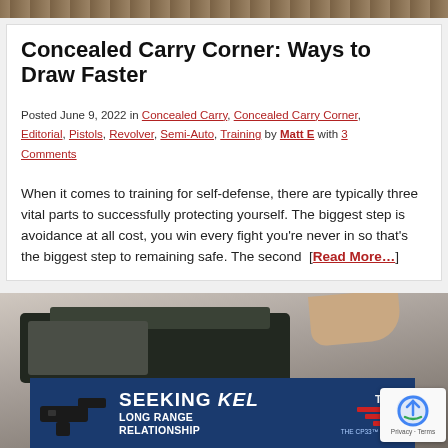[Figure (photo): Top banner image with outdoor/nature background in brown tones]
Concealed Carry Corner: Ways to Draw Faster
Posted June 9, 2022 in Concealed Carry, Concealed Carry Corner, Editorial, Pistols, Revolver, Semi-Auto, Training by Matt E with 3 Comments
When it comes to training for self-defense, there are typically three vital parts to successfully protecting yourself. The biggest step is avoidance at all cost, you win every fight you're never in so that's the biggest step to remaining safe. The second [Read More…]
[Figure (photo): Bottom section showing a gun case/bag being opened with a Kel-Tec CP33 pistol advertisement banner at the bottom reading SEEKING LONG RANGE RELATIONSHIP]